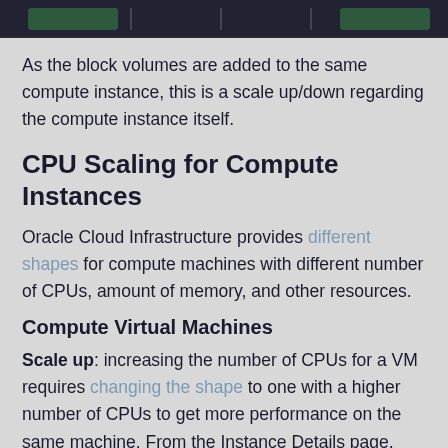[Figure (screenshot): Dark header image strip at top of page, appears to be a UI screenshot with dark background]
As the block volumes are added to the same compute instance, this is a scale up/down regarding the compute instance itself.
CPU Scaling for Compute Instances
Oracle Cloud Infrastructure provides different shapes for compute machines with different number of CPUs, amount of memory, and other resources.
Compute Virtual Machines
Scale up: increasing the number of CPUs for a VM requires changing the shape to one with a higher number of CPUs to get more performance on the same machine. From the Instance Details page, click on "Edit", choose the new shape, and click "Save Changes". This can be done at any time.